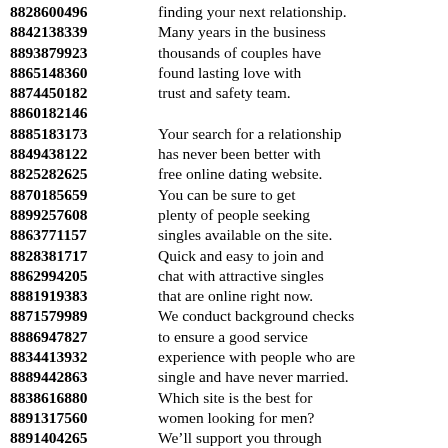8828600496 finding your next relationship.
8842138339 Many years in the business
8893879923 thousands of couples have
8865148360 found lasting love with
8874450182 trust and safety team.
8860182146
8885183173 Your search for a relationship
8849438122 has never been better with
8825282625 free online dating website.
8870185659 You can be sure to get
8899257608 plenty of people seeking
8863771157 singles available on the site.
8828381717 Quick and easy to join and
8862994205 chat with attractive singles
8881919383 that are online right now.
8871579989 We conduct background checks
8886947827 to ensure a good service
8834413932 experience with people who are
8889442863 single and have never married.
8838616880 Which site is the best for
8891317560 women looking for men?
8891404265 We’ll support you through
8895119109 every step of your journey
8860666384 to help you find your match.
8897580343 You can see who is online